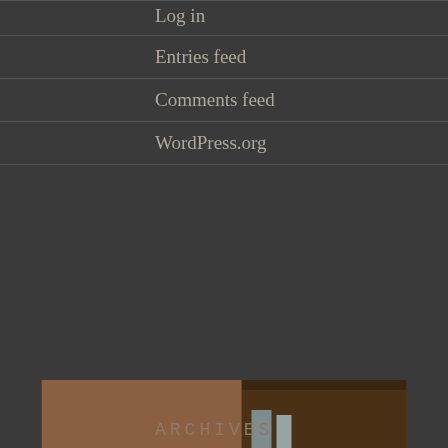Log in
Entries feed
Comments feed
WordPress.org
[Figure (photo): Portrait photo of a woman with curly reddish-brown hair and glasses, smiling, wearing a dark shirt with small dots/pattern, with shelves/books visible in background]
ARCHIVES